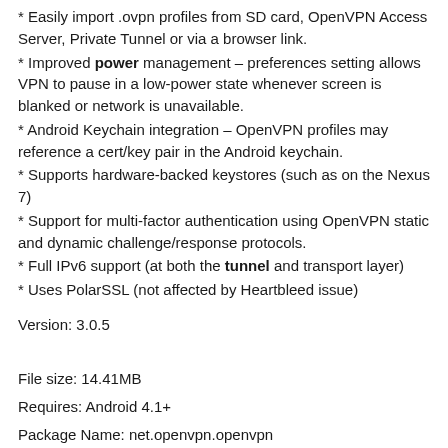* Easily import .ovpn profiles from SD card, OpenVPN Access Server, Private Tunnel or via a browser link.
* Improved power management – preferences setting allows VPN to pause in a low-power state whenever screen is blanked or network is unavailable.
* Android Keychain integration – OpenVPN profiles may reference a cert/key pair in the Android keychain.
* Supports hardware-backed keystores (such as on the Nexus 7)
* Support for multi-factor authentication using OpenVPN static and dynamic challenge/response protocols.
* Full IPv6 support (at both the tunnel and transport layer)
* Uses PolarSSL (not affected by Heartbleed issue)
Version: 3.0.5
File size: 14.41MB
Requires: Android 4.1+
Package Name: net.openvpn.openvpn
Developer: OpenVPN